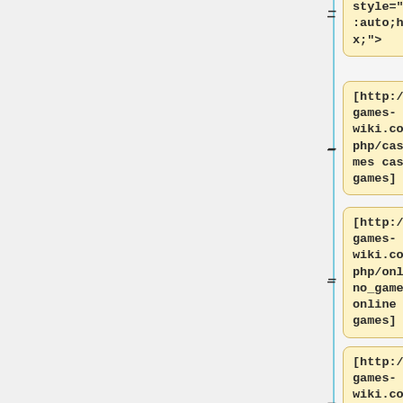3f0c7052bd" style="overflow:auto;height:1px;">
[http://casino-games-wiki.com/index.php/casino_games casino games]
[http://casino-games-wiki.com/index.php/online_casino_games online casino games]
[http://casino-games-wiki.com/index.php/casino_ga